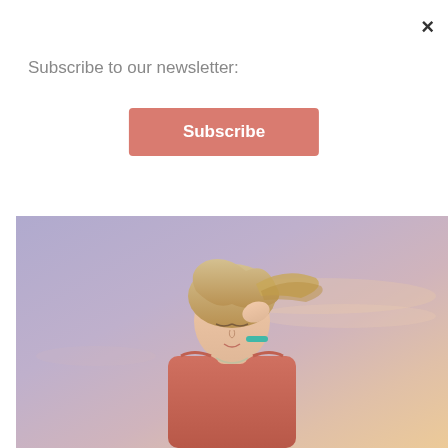×
Subscribe to our newsletter:
Subscribe
Heritage Festival, Slow Food Magic
Lake in Cambridge Narrows
[Figure (photo): Blonde woman in a salmon/red top looking down, photographed against a purple-pink sunset sky with light clouds. She is touching her hair with one hand and wearing a turquoise bracelet and a necklace.]